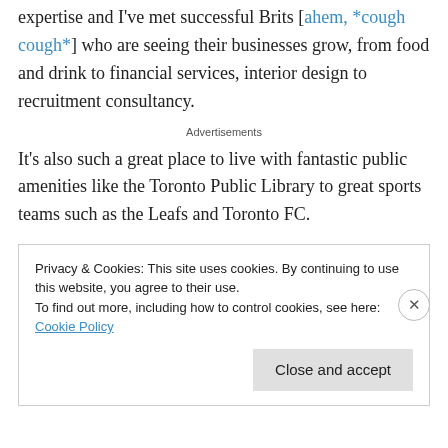expertise and I've met successful Brits [ahem, *cough cough*] who are seeing their businesses grow, from food and drink to financial services, interior design to recruitment consultancy.
Advertisements
It's also such a great place to live with fantastic public amenities like the Toronto Public Library to great sports teams such as the Leafs and Toronto FC.
Privacy & Cookies: This site uses cookies. By continuing to use this website, you agree to their use.
To find out more, including how to control cookies, see here: Cookie Policy
Close and accept